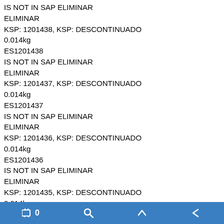IS NOT IN SAP ELIMINAR
ELIMINAR
KSP: 1201438, KSP: DESCONTINUADO
0.014kg
ES1201438
IS NOT IN SAP ELIMINAR
ELIMINAR
KSP: 1201437, KSP: DESCONTINUADO
0.014kg
ES1201437
IS NOT IN SAP ELIMINAR
ELIMINAR
KSP: 1201436, KSP: DESCONTINUADO
0.014kg
ES1201436
IS NOT IN SAP ELIMINAR
ELIMINAR
KSP: 1201435, KSP: DESCONTINUADO
0.014kg
ES1201435
IS NOT IN SAP ELIMINAR
ELIMINAR
KSP: 1201434, KSP: DESCONTINUADO
0.014kg
ES1201434
158
0 [cart] [search] [up] [back]